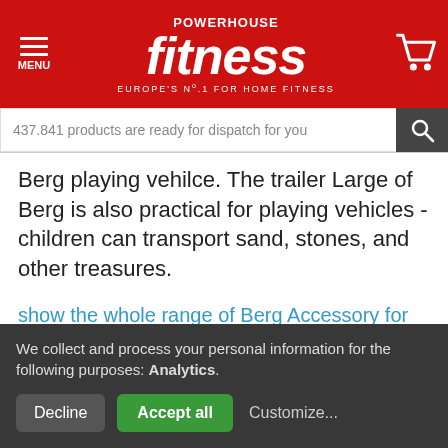[Figure (screenshot): Powerhouse Fitness website header with red background, hamburger menu icon on left, Powerhouse Fitness logo in center, shopping cart icon on right]
437.841 products are ready for dispatch for you
Berg playing vehilce. The trailer Large of Berg is also practical for playing vehicles - children can transport sand, stones, and other treasures.
show the whole range of Berg Accessory for play and fun
We collect and process your personal information for the following purposes: Analytics.
Decline   Accept all   Customize...